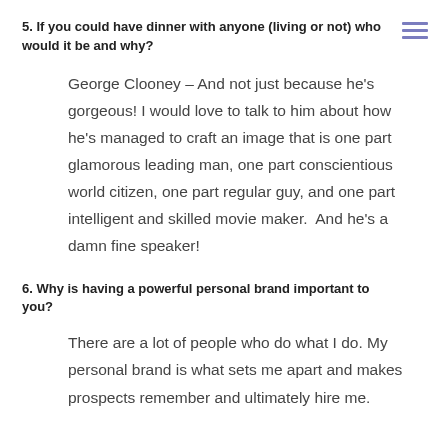5. If you could have dinner with anyone (living or not) who would it be and why?
George Clooney – And not just because he’s gorgeous! I would love to talk to him about how he’s managed to craft an image that is one part glamorous leading man, one part conscientious world citizen, one part regular guy, and one part intelligent and skilled movie maker.  And he’s a damn fine speaker!
6. Why is having a powerful personal brand important to you?
There are a lot of people who do what I do. My personal brand is what sets me apart and makes prospects remember and ultimately hire me.